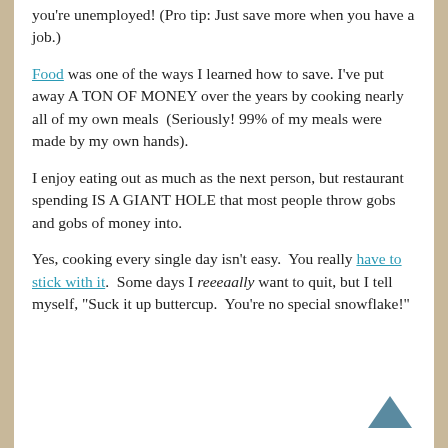you're unemployed! (Pro tip: Just save more when you have a job.)
Food was one of the ways I learned how to save. I've put away A TON OF MONEY over the years by cooking nearly all of my own meals  (Seriously! 99% of my meals were made by my own hands).
I enjoy eating out as much as the next person, but restaurant spending IS A GIANT HOLE that most people throw gobs and gobs of money into.
Yes, cooking every single day isn't easy.  You really have to stick with it.  Some days I reeeaally want to quit, but I tell myself, "Suck it up buttercup.  You're no special snowflake!"